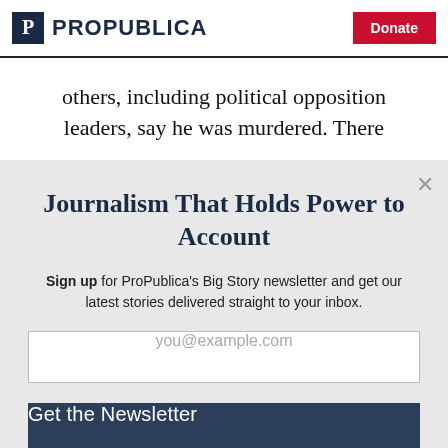ProPublica | Donate
others, including political opposition leaders, say he was murdered. There
Journalism That Holds Power to Account
Sign up for ProPublica's Big Story newsletter and get our latest stories delivered straight to your inbox.
you@example.com
Get the Newsletter
No thanks, I'm all set
This site is protected by reCAPTCHA and the Google Privacy Policy and Terms of Service apply.